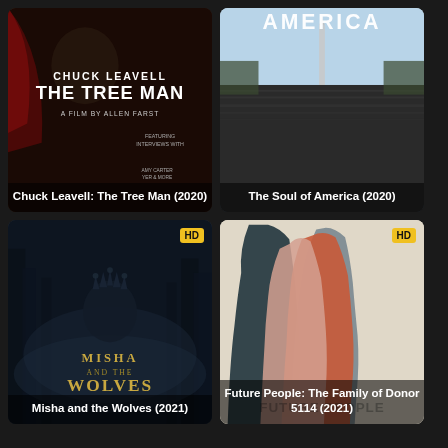[Figure (photo): Movie poster for Chuck Leavell: The Tree Man (2020) - dark background with text overlay showing 'CHUCK LEAVELL THE TREE MAN A FILM BY ALLEN FARST']
Chuck Leavell: The Tree Man (2020)
[Figure (photo): Movie poster for The Soul of America (2020) - black and white aerial crowd photo with Washington Monument, text AMERICA at top]
The Soul of America (2020)
[Figure (photo): Movie poster for Misha and the Wolves (2021) - HD badge, dark forest scene with crowned figure, gold title text]
Misha and the Wolves (2021)
[Figure (photo): Movie poster for Future People: The Family of Donor 5114 (2021) - HD badge, illustrated overlapping face silhouettes in orange, pink, grey and dark teal]
Future People: The Family of Donor 5114 (2021)